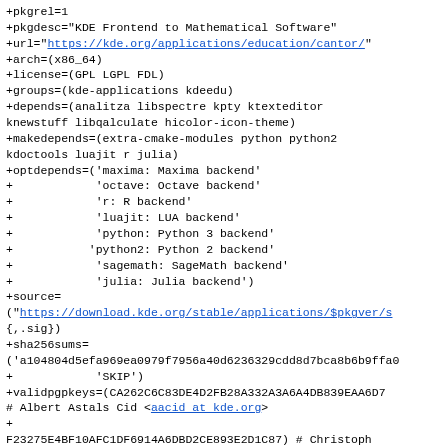+pkgrel=1
+pkgdesc="KDE Frontend to Mathematical Software"
+url="https://kde.org/applications/education/cantor/"
+arch=(x86_64)
+license=(GPL LGPL FDL)
+groups=(kde-applications kdeedu)
+depends=(analitza libspectre kpty ktexteditor knewstuff libqalculate hicolor-icon-theme)
+makedepends=(extra-cmake-modules python python2 kdoctools luajit r julia)
+optdepends=('maxima: Maxima backend'
+            'octave: Octave backend'
+            'r: R backend'
+            'luajit: LUA backend'
+            'python: Python 3 backend'
+           'python2: Python 2 backend'
+            'sagemath: SageMath backend'
+            'julia: Julia backend')
+source=
("https://download.kde.org/stable/applications/$pkgver/s
{,.sig})
+sha256sums=
('a104804d5efa969ea0979f7956a40d6236329cdd8d7bca8b6b9ffa0
+            'SKIP')
+validpgpkeys=(CA262C6C83DE4D2FB28A332A3A6A4DB839EAA6D7
# Albert Astals Cid <aacid at kde.org>
+
F23275E4BF10AFC1DF6914A6DBD2CE893E2D1C87) # Christoph Feck <cfeck at kde.org>
+